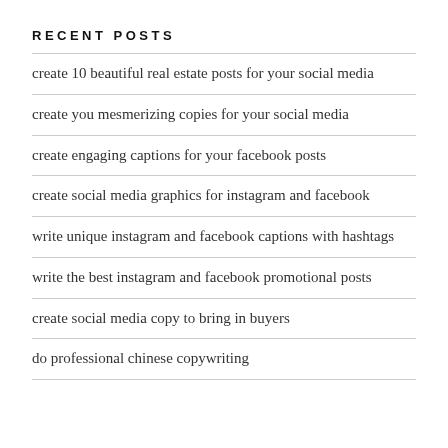RECENT POSTS
create 10 beautiful real estate posts for your social media
create you mesmerizing copies for your social media
create engaging captions for your facebook posts
create social media graphics for instagram and facebook
write unique instagram and facebook captions with hashtags
write the best instagram and facebook promotional posts
create social media copy to bring in buyers
do professional chinese copywriting